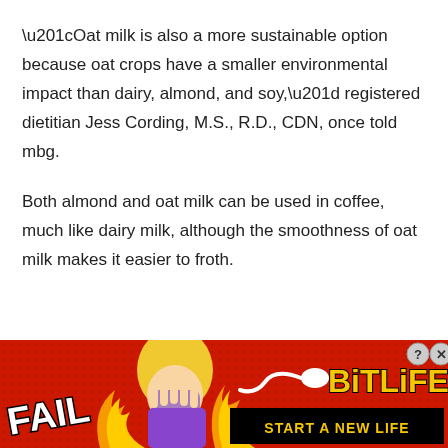“Oat milk is also a more sustainable option because oat crops have a smaller environmental impact than dairy, almond, and soy,” registered dietitian Jess Cording, M.S., R.D., CDN, once told mbg.
Both almond and oat milk can be used in coffee, much like dairy milk, although the smoothness of oat milk makes it easier to froth.
[Figure (illustration): Advertisement banner for BitLife game. Red textured background with FAIL text on left, cartoon blonde character covering face, flame graphics in center, sperm icon, BitLife logo in yellow, and 'START A NEW LIFE' text on black background. Close and help buttons in top right corner.]